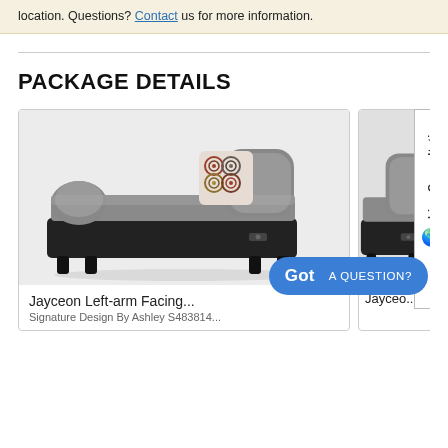location. Questions? Contact us for more information.
PACKAGE DETAILS
[Figure (photo): Gray chaise lounge sofa piece (Jayceon Left-arm Facing) with a decorative patterned pillow on the back, dark black base with small feet, gray upholstery]
Jayceon Left-arm Facing...
Signature Design By Ashley S483814...
[Figure (photo): Partial view of a second product card showing a gray sectional piece (Jayceo...) with similar gray upholstery and black base]
Jayceo...
Got A QUESTION?